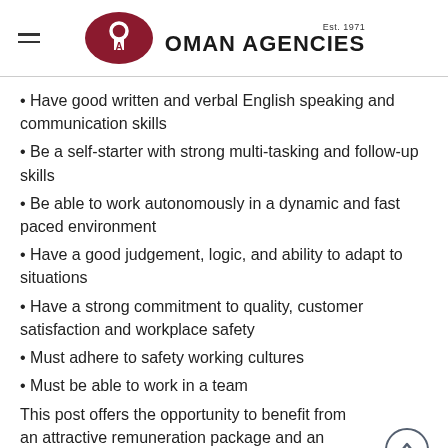OMAN AGENCIES Est. 1971
Have good written and verbal English speaking and communication skills
Be a self-starter with strong multi-tasking and follow-up skills
Be able to work autonomously in a dynamic and fast paced environment
Have a good judgement, logic, and ability to adapt to situations
Have a strong commitment to quality, customer satisfaction and workplace safety
Must adhere to safety working cultures
Must be able to work in a team
This post offers the opportunity to benefit from an attractive remuneration package and an excellent work